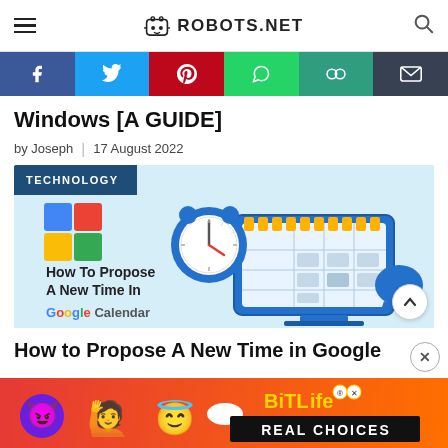ROBOTS.NET
Windows [A GUIDE]
by Joseph | 17 August 2022
[Figure (illustration): Feature image for article 'How To Propose A New Time In Google Calendar' showing a cartoon computer monitor with a clock and calendar, with TECHNOLOGY badge overlay]
How to Propose A New Time in Google
[Figure (infographic): BitLife advertisement banner with devil and angel emojis, BitLife logo and REAL CHOICES tagline]